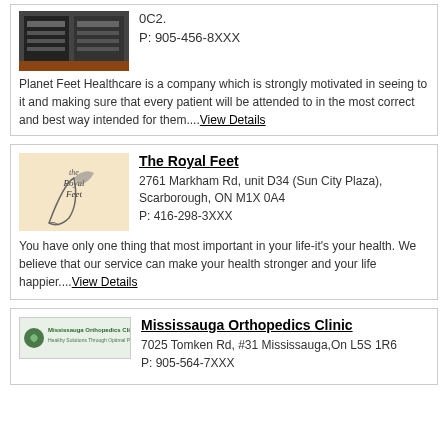[Figure (photo): Photo of Planet Feet Healthcare storefront with sign boards]
0C2.
P: 905-456-8XXX
Planet Feet Healthcare is a company which is strongly motivated in seeing to it and making sure that every patient will be attended to in the most correct and best way intended for them....View Details
[Figure (logo): The Royal Feet logo with bird/leaf illustration on tan background]
The Royal Feet
2761 Markham Rd, unit D34 (Sun City Plaza), Scarborough, ON M1X 0A4
P: 416-298-3XXX
You have only one thing that most important in your life-it's your health. We believe that our service can make your health stronger and your life happier....View Details
[Figure (logo): Mississauga Orthopedics Clinic logo with green text and icon]
Mississauga Orthopedics Clinic
7025 Tomken Rd, #31 Mississauga,On L5S 1R6
P: 905-564-7XXX